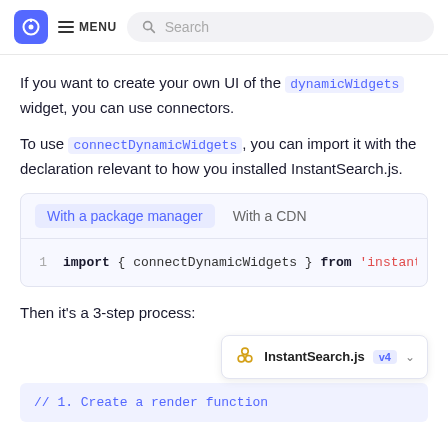MENU  Search
If you want to create your own UI of the dynamicWidgets widget, you can use connectors.
To use connectDynamicWidgets, you can import it with the declaration relevant to how you installed InstantSearch.js.
[Figure (screenshot): Code panel with tabs 'With a package manager' (active) and 'With a CDN', showing: import { connectDynamicWidgets } from 'instantsea...]
Then it's a 3-step process:
[Figure (screenshot): InstantSearch.js v4 tooltip widget selector dropdown]
// 1. Create a render function